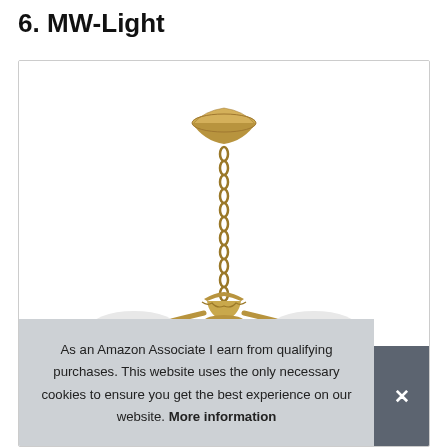6. MW-Light
[Figure (photo): A brass/gold antique-style chandelier pendant light with a chain, ceiling cap, decorative body, and three white frosted glass globe shades, photographed on a white background inside a light-bordered box.]
As an Amazon Associate I earn from qualifying purchases. This website uses the only necessary cookies to ensure you get the best experience on our website. More information